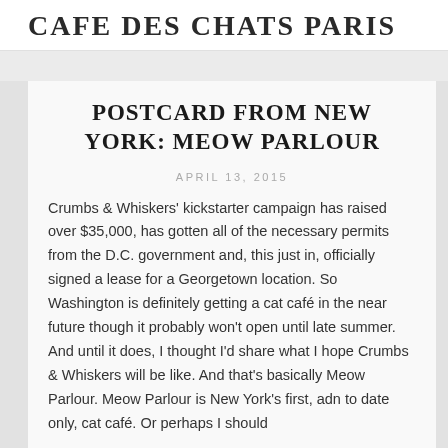CAFE DES CHATS PARIS
POSTCARD FROM NEW YORK: MEOW PARLOUR
APRIL 13, 2015
Crumbs & Whiskers' kickstarter campaign has raised over $35,000, has gotten all of the necessary permits from the D.C. government and, this just in, officially signed a lease for a Georgetown location. So Washington is definitely getting a cat café in the near future though it probably won't open until late summer. And until it does, I thought I'd share what I hope Crumbs & Whiskers will be like. And that's basically Meow Parlour. Meow Parlour is New York's first, adn to date only, cat café. Or perhaps I should